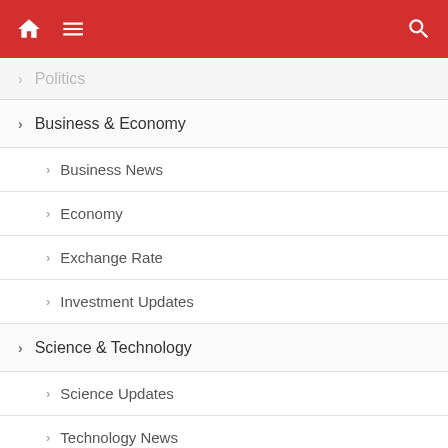Navigation menu header with home, menu, and search icons
> Politics
> Business & Economy
>  Business News
>  Economy
>  Exchange Rate
>  Investment Updates
> Science & Technology
>  Science Updates
>  Technology News
>  Tech Tips
> Sports
> Crime & Terrorism